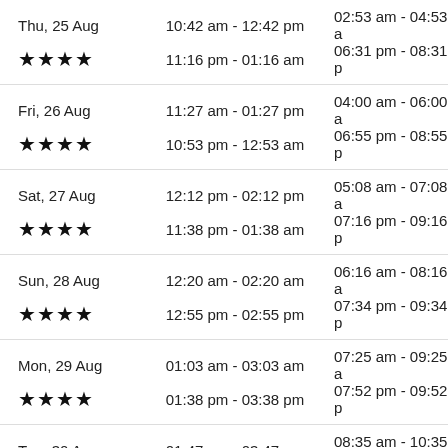| Date | Time Slot 1 | Time Slot 2 |
| --- | --- | --- |
| Thu, 25 Aug ★★★★ | 10:42 am - 12:42 pm / 11:16 pm - 01:16 am | 02:53 am - 04:53 / 06:31 pm - 08:31 |
| Fri, 26 Aug ★★★★ | 11:27 am - 01:27 pm / 10:53 pm - 12:53 am | 04:00 am - 06:00 / 06:55 pm - 08:55 |
| Sat, 27 Aug ★★★★ | 12:12 pm - 02:12 pm / 11:38 pm - 01:38 am | 05:08 am - 07:08 / 07:16 pm - 09:16 |
| Sun, 28 Aug ★★★★ | 12:20 am - 02:20 am / 12:55 pm - 02:55 pm | 06:16 am - 08:16 / 07:34 pm - 09:34 |
| Mon, 29 Aug ★★★★ | 01:03 am - 03:03 am / 01:38 pm - 03:38 pm | 07:25 am - 09:25 / 07:52 pm - 09:52 |
| Tue, 30 Aug ★★★☆ | 01:47 am - 03:47 am / 02:23 pm - 04:23 pm | 08:35 am - 10:35 / 08:11 pm - 10:11 |